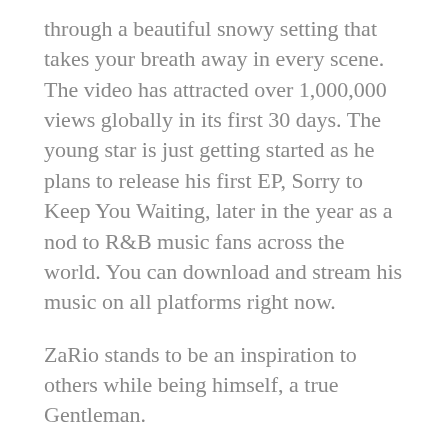through a beautiful snowy setting that takes your breath away in every scene. The video has attracted over 1,000,000 views globally in its first 30 days. The young star is just getting started as he plans to release his first EP, Sorry to Keep You Waiting, later in the year as a nod to R&B music fans across the world. You can download and stream his music on all platforms right now.
ZaRio stands to be an inspiration to others while being himself, a true Gentleman.
Zario is currently charting on Billboard at #29 on the R&B Airplay Charts.
Connect with ZaRio: https://www.zariosonrise.com Instagram: https://instagram.com/zario_sonrise?